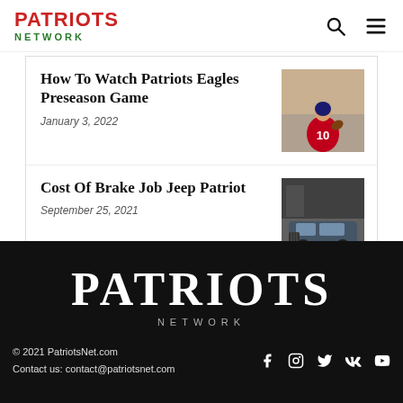PATRIOTS NETWORK
How To Watch Patriots Eagles Preseason Game
January 3, 2022
[Figure (photo): Football player in Patriots uniform throwing a pass]
Cost Of Brake Job Jeep Patriot
September 25, 2021
[Figure (photo): Jeep Patriot SUV parked outside a dealership]
PATRIOTS NETWORK © 2021 PatriotsNet.com Contact us: contact@patriotsnet.com